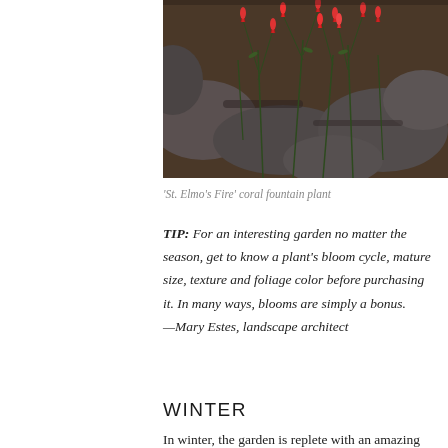[Figure (photo): Close-up photo of 'St. Elmo's Fire' coral fountain plant with red tubular flowers and rocky background]
'St. Elmo's Fire' coral fountain plant
TIP: For an interesting garden no matter the season, get to know a plant's bloom cycle, mature size, texture and foliage color before purchasing it. In many ways, blooms are simply a bonus.
—Mary Estes, landscape architect
WINTER
In winter, the garden is replete with an amazing variety of greens, grays and blues, especially in